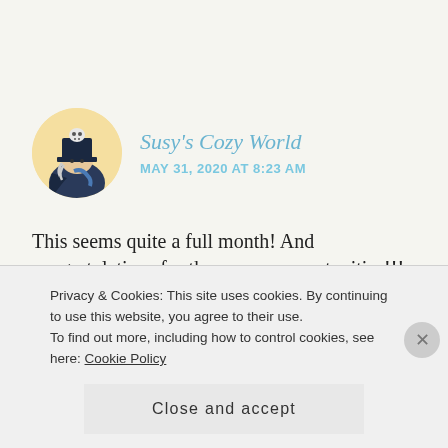[Figure (illustration): Circular avatar with anime-style character wearing a dark top hat with a small skull on top, dark clothing, against a warm peach/gold background]
Susy's Cozy World
MAY 31, 2020 AT 8:23 AM
This seems quite a full month! And congratulations for the carreer opportunities!!!
And I feel you with the procrastination thing... The sad part is that I have not so many excuses since I
Privacy & Cookies: This site uses cookies. By continuing to use this website, you agree to their use.
To find out more, including how to control cookies, see here: Cookie Policy
Close and accept